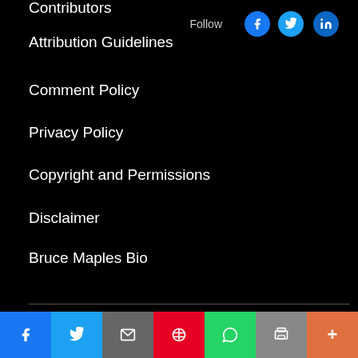Contributors
Attribution Guidelines
Comment Policy
Privacy Policy
Copyright and Permissions
Disclaimer
Bruce Maples Bio
Follow
NEWSLETTER
Your email address
Subscri' Subscribe here!